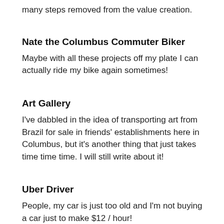many steps removed from the value creation.
Nate the Columbus Commuter Biker
Maybe with all these projects off my plate I can actually ride my bike again sometimes!
Art Gallery
I've dabbled in the idea of transporting art from Brazil for sale in friends' establishments here in Columbus, but it's another thing that just takes time time time. I will still write about it!
Uber Driver
People, my car is just too old and I'm not buying a car just to make $12 / hour!